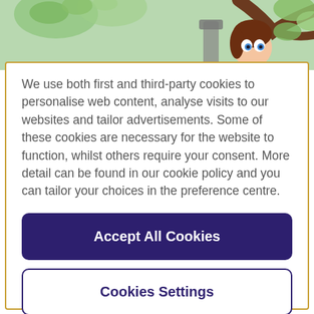[Figure (illustration): Animated illustration showing a cartoon girl peeking around a tree with green leaves, outdoors scene, partial view at top of page]
We use both first and third-party cookies to personalise web content, analyse visits to our websites and tailor advertisements. Some of these cookies are necessary for the website to function, whilst others require your consent. More detail can be found in our cookie policy and you can tailor your choices in the preference centre.
Accept All Cookies
Cookies Settings